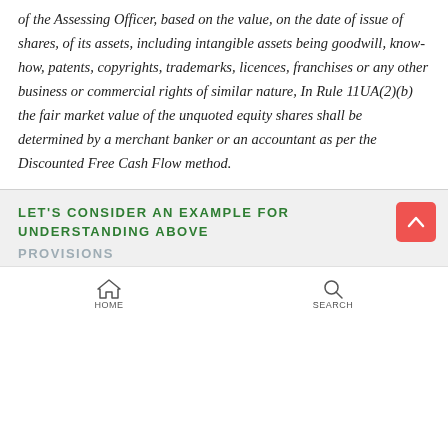of the Assessing Officer, based on the value, on the date of issue of shares, of its assets, including intangible assets being goodwill, know-how, patents, copyrights, trademarks, licences, franchises or any other business or commercial rights of similar nature, In Rule 11UA(2)(b) the fair market value of the unquoted equity shares shall be determined by a merchant banker or an accountant as per the Discounted Free Cash Flow method.
LET'S CONSIDER AN EXAMPLE FOR UNDERSTANDING ABOVE PROVISIONS